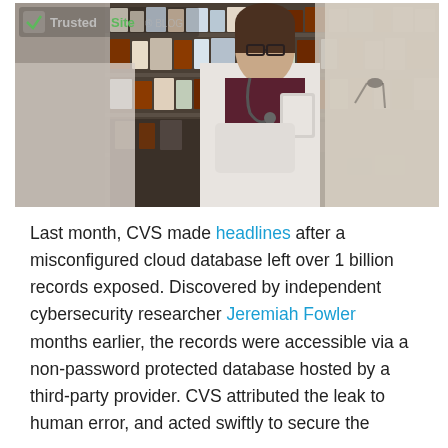[Figure (photo): Two medical professionals in white lab coats in a pharmacy or medical supply room with shelves of products. A woman with glasses and a stethoscope is visible, along with a man in the foreground. A TrustedSite Blog watermark/logo is visible in the upper left.]
Last month, CVS made headlines after a misconfigured cloud database left over 1 billion records exposed. Discovered by independent cybersecurity researcher Jeremiah Fowler months earlier, the records were accessible via a non-password protected database hosted by a third-party provider. CVS attributed the leak to human error, and acted swiftly to secure the